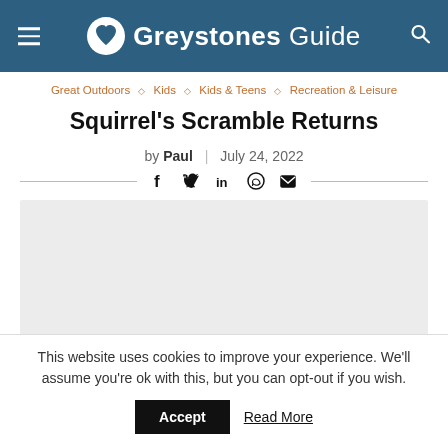Greystones Guide
Great Outdoors ◇ Kids ◇ Kids & Teens ◇ Recreation & Leisure
Squirrel's Scramble Returns
by Paul | July 24, 2022
[Figure (other): Social share icons: Facebook, Twitter, LinkedIn, WhatsApp, Email]
[Figure (photo): Article image placeholder (light grey rectangle)]
This website uses cookies to improve your experience. We'll assume you're ok with this, but you can opt-out if you wish.
Accept | Read More